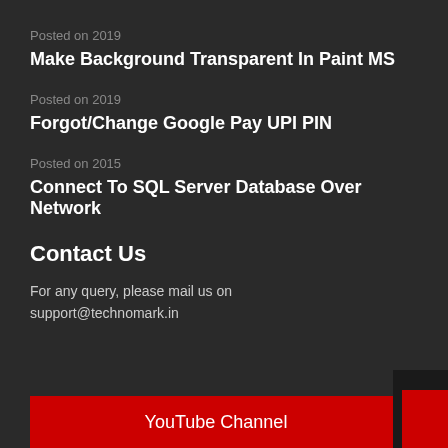Posted on 2019
Make Background Transparent In Paint MS
Posted on 2019
Forgot/Change Google Pay UPI PIN
Posted on 2015
Connect To SQL Server Database Over Network
Contact Us
For any query, please mail us on
support@technomark.in
YouTube Channel